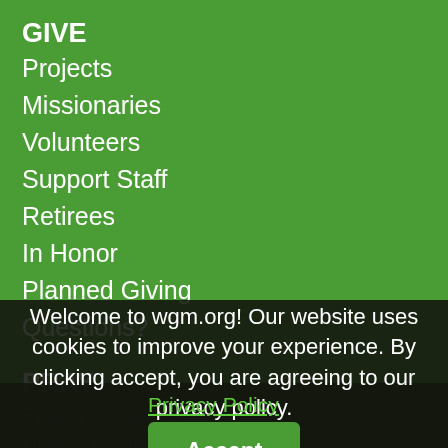GIVE
Projects
Missionaries
Volunteers
Support Staff
Retirees
In Honor
Planned Giving
Questions?
PRAY
Prayer Calendar
Prayer Lifeline
STORIES
Blog
The Call
Podcast
Heroes of faith
ABOUT
Welcome to wgm.org! Our website uses cookies to improve your experience. By clicking accept, you are agreeing to our privacy policy.
Privacy Policy
Accept